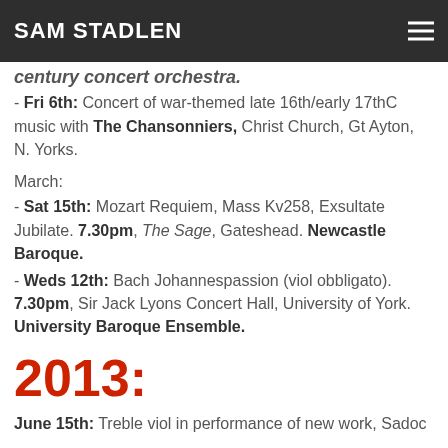SAM STADLEN
century concert orchestra.
- Fri 6th: Concert of war-themed late 16th/early 17thC music with The Chansonniers, Christ Church, Gt Ayton, N. Yorks.
March:
- Sat 15th: Mozart Requiem, Mass Kv258, Exsultate Jubilate. 7.30pm, The Sage, Gateshead. Newcastle Baroque.
- Weds 12th: Bach Johannespassion (viol obbligato). 7.30pm, Sir Jack Lyons Concert Hall, University of York. University Baroque Ensemble.
2013:
June 15th: Treble viol in performance of new work, Sadoc